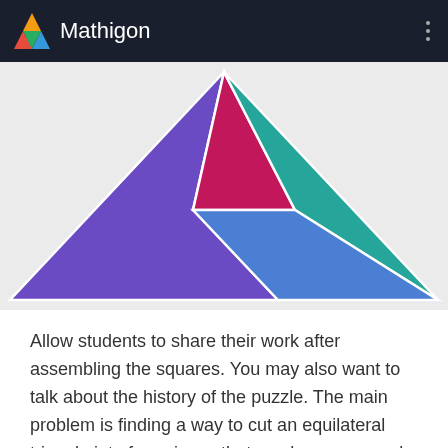Mathigon
[Figure (illustration): A large equilateral triangle composed of four colored geometric pieces: a purple triangle on the left, a pink/magenta triangle at the top center, a blue triangle at the bottom center, and a teal triangle on the right. The pieces fit together to form the overall triangle shape, illustrating a tangram-style puzzle.]
Allow students to share their work after assembling the squares. You may also want to talk about the history of the puzzle. The main problem is finding a way to cut an equilateral triangle into four pieces that can be rearranged to make a square. It is named